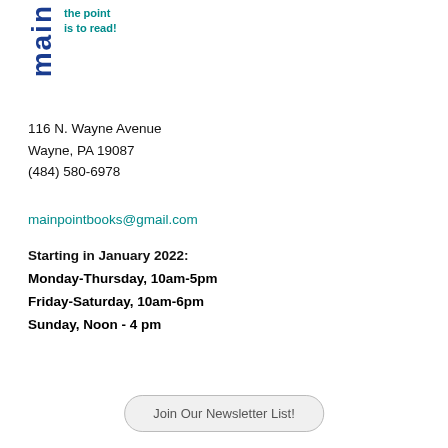[Figure (logo): Main Point Books logo with rotated 'main' text in dark blue and tagline 'the point is to read!' in teal]
116 N. Wayne Avenue
Wayne, PA 19087
(484) 580-6978
mainpointbooks@gmail.com
Starting in January 2022:
Monday-Thursday, 10am-5pm
Friday-Saturday, 10am-6pm
Sunday, Noon - 4 pm
Join Our Newsletter List!